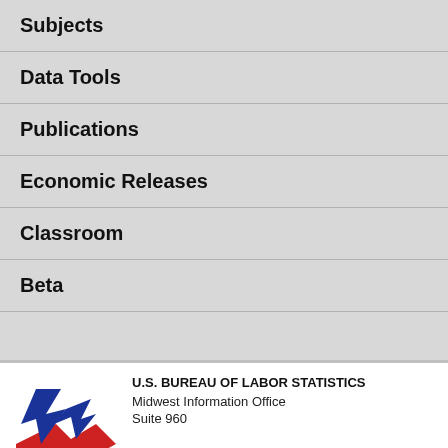Subjects
Data Tools
Publications
Economic Releases
Classroom
Beta
[Figure (logo): U.S. Bureau of Labor Statistics logo with blue star and red base]
U.S. BUREAU OF LABOR STATISTICS
Midwest Information Office
Suite 960